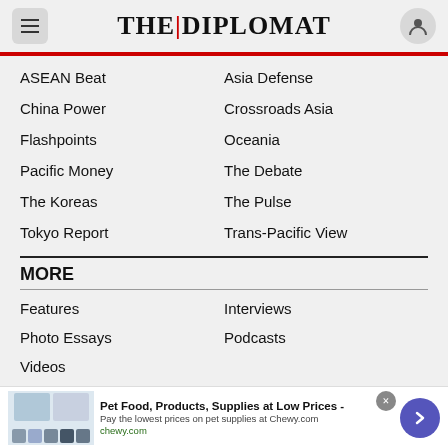THE DIPLOMAT
ASEAN Beat
Asia Defense
China Power
Crossroads Asia
Flashpoints
Oceania
Pacific Money
The Debate
The Koreas
The Pulse
Tokyo Report
Trans-Pacific View
MORE
Features
Interviews
Photo Essays
Podcasts
Videos
Pet Food, Products, Supplies at Low Prices - Pay the lowest prices on pet supplies at Chewy.com chewy.com